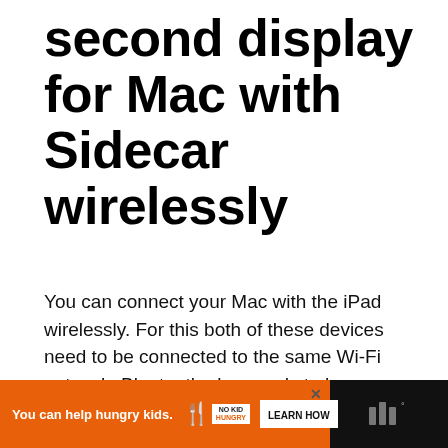second display for Mac with Sidecar wirelessly
You can connect your Mac with the iPad wirelessly. For this both of these devices need to be connected to the same Wi-Fi network. Bluetooth also needs to be enabled on both devices.
[Figure (other): Advertisement banner: orange background with text 'You can help hungry kids.' and No Kid Hungry logo with a fork icon, a 'LEARN HOW' button, and a wave/audio icon on dark background to the right. A close button (X) appears at the top right of the orange section.]